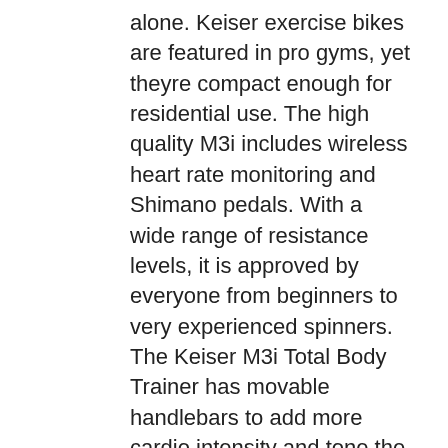alone. Keiser exercise bikes are featured in pro gyms, yet theyre compact enough for residential use. The high quality M3i includes wireless heart rate monitoring and Shimano pedals. With a wide range of resistance levels, it is approved by everyone from beginners to very experienced spinners. The Keiser M3i Total Body Trainer has movable handlebars to add more cardio intensity and tone the arms, chest, shoulders and back and sometimes youll want to exercise just the upper body. For these workout sessions, foot rests are provided. The M3i body trainer computerized adjustments offer 24 tensions levels ranging from light to very powerful. The seat adjusts vertically and horizontally to fit most adults. The Keiser M3i Total Body Trainer Computer is a simple unit showing resistance, time, distance, RPM and watts. It also has an odometer for long-term tracking